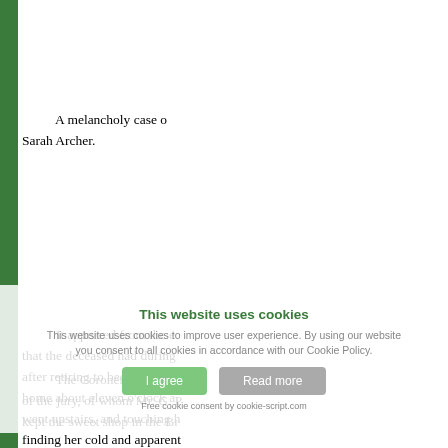A melancholy case of Sarah Archer.
It appeared from the evidence that the deceased had during the night after retiring to bed. The next came home about eleven o'clock and went upstairs, and touching her finding her cold and apparently dead. The latter found the body stiff blood and foam at the mouth was practically suffocated. Th
The Coroner (Dr. Wats of the jury, of whom Mr. G. P kept the sweet shop in the Br
This website uses cookies
This website uses cookies to improve user experience. By using our website you consent to all cookies in accordance with our Cookie Policy.
I agree   Read more
Free cookie consent by cookie-script.com